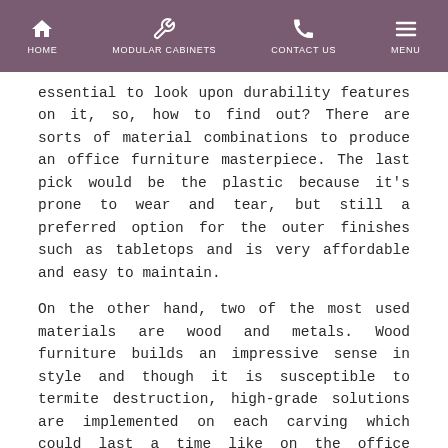HOME | MODULAR CABINETS | CONTACT US | MENU
essential to look upon durability features on it, so, how to find out? There are sorts of material combinations to produce an office furniture masterpiece. The last pick would be the plastic because it’s prone to wear and tear, but still a preferred option for the outer finishes such as tabletops and is very affordable and easy to maintain.
On the other hand, two of the most used materials are wood and metals. Wood furniture builds an impressive sense in style and though it is susceptible to termite destruction, high-grade solutions are implemented on each carving which could last a time like on the office tables. Meanwhile, the metal finish is a good choice for securing files and documents because today, it